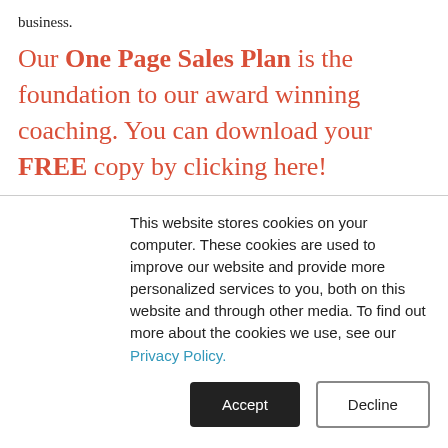business.
Our One Page Sales Plan is the foundation to our award winning coaching. You can download your FREE copy by clicking here!
This website stores cookies on your computer. These cookies are used to improve our website and provide more personalized services to you, both on this website and through other media. To find out more about the cookies we use, see our Privacy Policy.
Accept  Decline